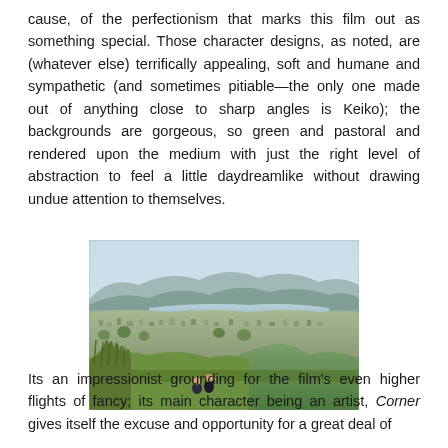cause, of the perfectionism that marks this film out as something special. Those character designs, as noted, are (whatever else) terrifically appealing, soft and humane and sympathetic (and sometimes pitiable—the only one made out of anything close to sharp angles is Keiko); the backgrounds are gorgeous, so green and pastoral and rendered upon the medium with just the right level of abstraction to feel a little daydreamlike without drawing undue attention to themselves.
[Figure (photo): Anime still showing two figures sitting on a hillside overlooking a lush green cityscape and bay with mountains in the background, rendered in a soft pastoral style.]
Its an impressionist grounding for the film's even higher flights of fancy; its main character being an artist, Corner gives itself the excuse and opportunity for a great deal of